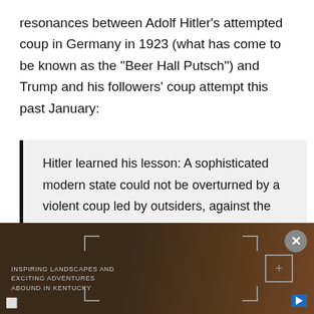resonances between Adolf Hitler's attempted coup in Germany in 1923 (what has come to be known as the "Beer Hall Putsch") and Trump and his followers' coup attempt this past January:
Hitler learned his lesson: A sophisticated modern state could not be overturned by a violent coup led by outsiders, against the police and the army. He realized he would have to work within the system.
[Figure (screenshot): Advertisement banner for Kentucky landscapes and adventures with wood barrel background, bracket corner markers, close button (X), and a play button. Text reads: INSPIRING LANDSCAPES AND EXCITING ADVENTURES ABOUND IN KENTUCKY]